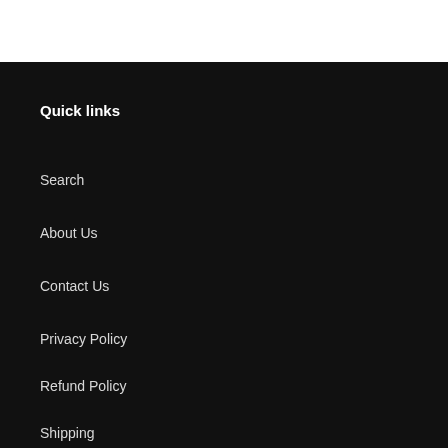Quick links
Search
About Us
Contact Us
Privacy Policy
Refund Policy
Shipping